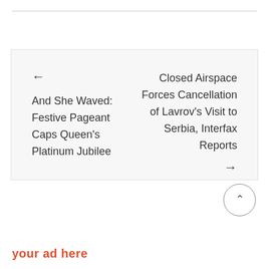← And She Waved: Festive Pageant Caps Queen's Platinum Jubilee
Closed Airspace Forces Cancellation of Lavrov's Visit to Serbia, Interfax Reports →
your ad here